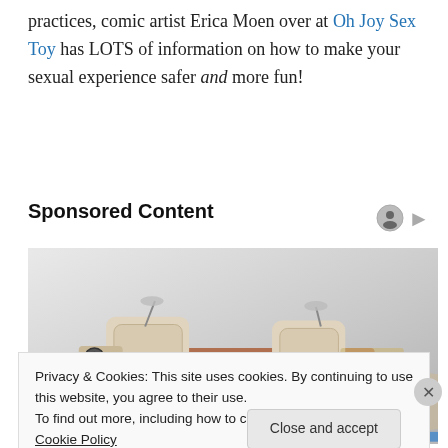practices, comic artist Erica Moen over at Oh Joy Sex Toy has LOTS of information on how to make your sexual experience safer and more fun!
Sponsored Content
[Figure (photo): Product photo of a luxury smart bed with speakers, lighting, and storage compartments, photographed on a light grey gradient background.]
Privacy & Cookies: This site uses cookies. By continuing to use this website, you agree to their use.
To find out more, including how to control cookies, see here: Cookie Policy